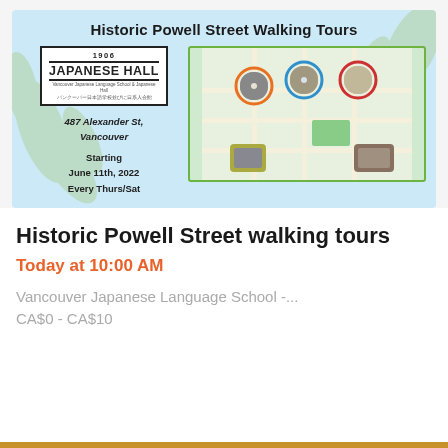[Figure (infographic): Historic Powell Street Walking Tours banner with light blue background, decorative leaf motifs, 1906 Japanese Hall logo, address text, date info, and a map showing tour stops with circular photo markers.]
Historic Powell Street walking tours
Today at 10:00 AM
Vancouver Japanese Language School -...
CA$0 - CA$10